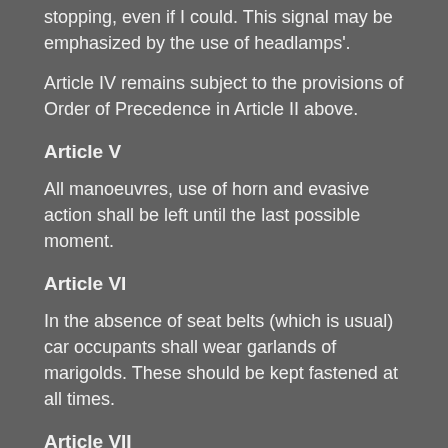stopping, even if I could. This signal may be emphasized by the use of headlamps'.
Article IV remains subject to the provisions of Order of Precedence in Article II above.
Article V
All manoeuvres, use of horn and evasive action shall be left until the last possible moment.
Article VI
In the absence of seat belts (which is usual) car occupants shall wear garlands of marigolds. These should be kept fastened at all times.
Article VII
Rights of way: Traffic entering a road from the left has priority. So does traffic from the right, and also traffic in the middle.